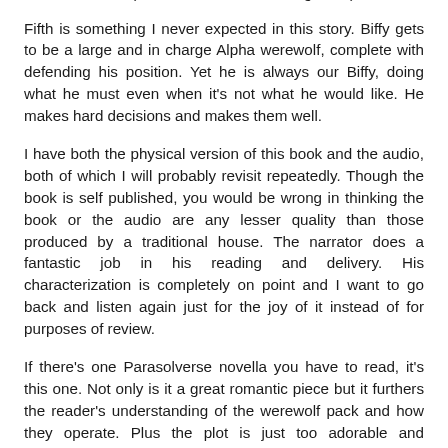weremufins do. (Yes, I said weremufins, fight me).
Fifth is something I never expected in this story. Biffy gets to be a large and in charge Alpha werewolf, complete with defending his position. Yet he is always our Biffy, doing what he must even when it's not what he would like. He makes hard decisions and makes them well.
I have both the physical version of this book and the audio, both of which I will probably revisit repeatedly. Though the book is self published, you would be wrong in thinking the book or the audio are any lesser quality than those produced by a traditional house. The narrator does a fantastic job in his reading and delivery. His characterization is completely on point and I want to go back and listen again just for the joy of it instead of for purposes of review.
If there's one Parasolverse novella you have to read, it's this one. Not only is it a great romantic piece but it furthers the reader's understanding of the werewolf pack and how they operate. Plus the plot is just too adorable and enjoyable for words.
Which novella would you say is a must read? Share your pick in the comments.